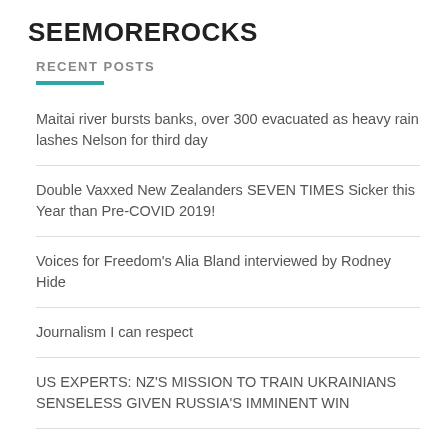SEEMOREROCKS
RECENT POSTS
Maitai river bursts banks, over 300 evacuated as heavy rain lashes Nelson for third day
Double Vaxxed New Zealanders SEVEN TIMES Sicker this Year than Pre-COVID 2019!
Voices for Freedom's Alia Bland interviewed by Rodney Hide
Journalism I can respect
US EXPERTS: NZ'S MISSION TO TRAIN UKRAINIANS SENSELESS GIVEN RUSSIA'S IMMINENT WIN